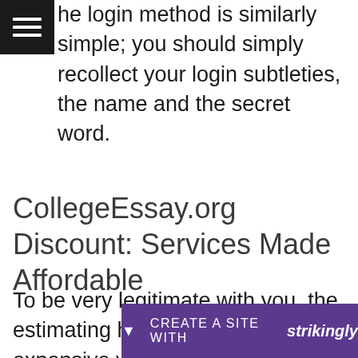he login method is similarly simple; you should simply recollect your login subtleties, the name and the secret word.
CollegeEssay.org Discount: Services Made Affordable
To be very legitimate with you, the estimating here isn't the least expensive you can find available, nor would it be a good idea for it be. You know how they say "in the event that you pay peanuts, you seri e
[Figure (screenshot): Strikingly website builder promotional banner at bottom of page, purple background with text 'CREATE A SITE WITH strikingly' and a downward arrow icon]